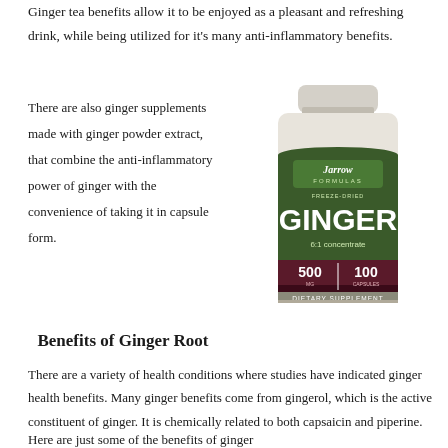Ginger tea benefits allow it to be enjoyed as a pleasant and refreshing drink, while being utilized for it's many anti-inflammatory benefits.
There are also ginger supplements made with ginger powder extract, that combine the anti-inflammatory power of ginger with the convenience of taking it in capsule form.
[Figure (photo): Jarrow Formulas Freeze-Dried Ginger 6:1 concentrate, 500mg, 100 capsules dietary supplement bottle]
Benefits of Ginger Root
There are a variety of health conditions where studies have indicated ginger health benefits. Many ginger benefits come from gingerol, which is the active constituent of ginger. It is chemically related to both capsaicin and piperine.
Here are just some of the benefits of ginger